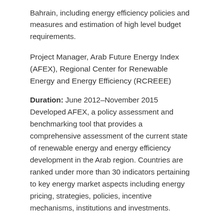Bahrain, including energy efficiency policies and measures and estimation of high level budget requirements.
Project Manager, Arab Future Energy Index (AFEX), Regional Center for Renewable Energy and Energy Efficiency (RCREEE)
Duration: June 2012–November 2015 Developed AFEX, a policy assessment and benchmarking tool that provides a comprehensive assessment of the current state of renewable energy and energy efficiency development in the Arab region. Countries are ranked under more than 30 indicators pertaining to key energy market aspects including energy pricing, strategies, policies, incentive mechanisms, institutions and investments.